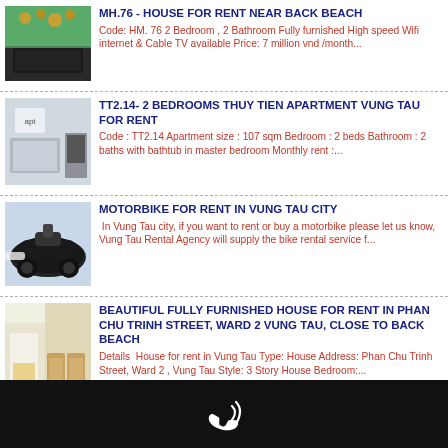[Figure (photo): Bedroom with green wall and black bed]
MH.76 - HOUSE FOR RENT NEAR BACK BEACH
Code: HM. 76 2 Bedroom , 2 Bathroom Fully furnished High speed Wifi internet & Cable TV available Price: 7 million vnd /month...
[Figure (photo): Apartment interior with dining table and TV]
TT2.14- 2 BEDROOMS THUY TIEN APARTMENT VUNG TAU FOR RENT
Code : TT2.14 Apartment size : 107 sqm Bedroom : 2 beds Bathroom : 2 baths with bathtub in master bedroom Monthly rent :....
[Figure (photo): Black motorbike for rent]
MOTORBIKE FOR RENT IN VUNG TAU CITY
In Vung Tau city, if you want to rent or buy a motorbike please let us know, Vung Tau Rental Agency will supply the bike rental service f...
[Figure (photo): House interior with furniture and yellow curtains]
BEAUTIFUL FULLY FURNISHED HOUSE FOR RENT IN PHAN CHU TRINH STREET, WARD 2 VUNG TAU, CLOSE TO BACK BEACH
Details  House for rent in Vung Tau Type: House Address: Phan Chu Trinh Street, Ward 2 , Vung Tau Style: 3 Story House Bedroom:...
Phone icon footer bar